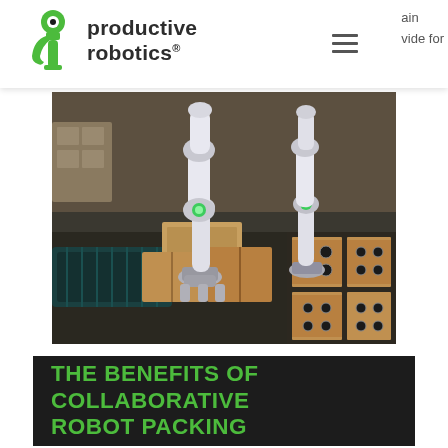productive robotics. [hamburger menu] ain wide for
[Figure (photo): Two white collaborative robotic arms with green LED lights working on a packing line with cardboard boxes and a conveyor belt in a warehouse setting.]
THE BENEFITS OF COLLABORATIVE ROBOT PACKING